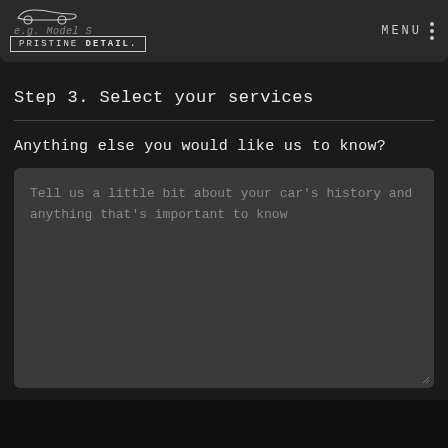e.g. Model S  PRISTINE DETAIL.  MENU
Step 3. Select your services
Anything else you would like us to know?
Tell us a little bit about your car's history and anything that's important to know